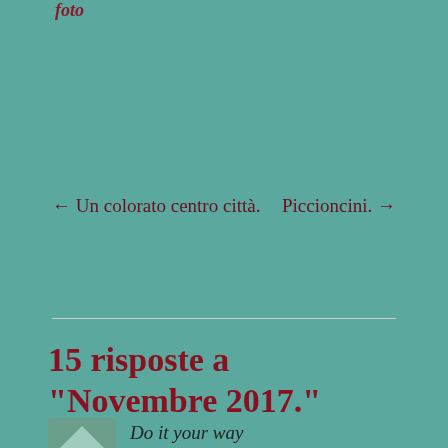foto
← Un colorato centro città.
Piccioncini. →
15 risposte a "Novembre 2017."
Do it your way   dicembre 1, 2017 alle 6:37 am
Fortunately it's south of Finland, so day is not so short as in the northern part 🙂